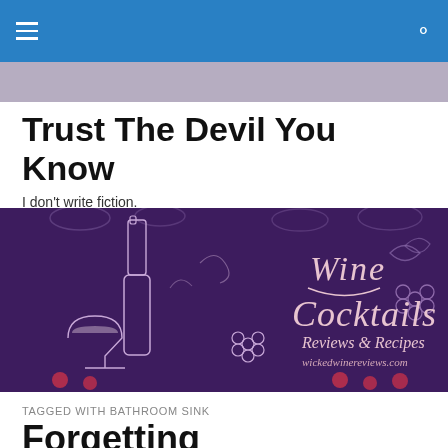Navigation bar with hamburger menu and search icon
Trust The Devil You Know
I don't write fiction.
[Figure (illustration): Dark purple banner image with sketched wine bottle, wine glass, grape leaves and clusters. Script text reads: Wine Cocktails Reviews & Recipes wickedwinereviews.com]
TAGGED WITH BATHROOM SINK
Forgetting